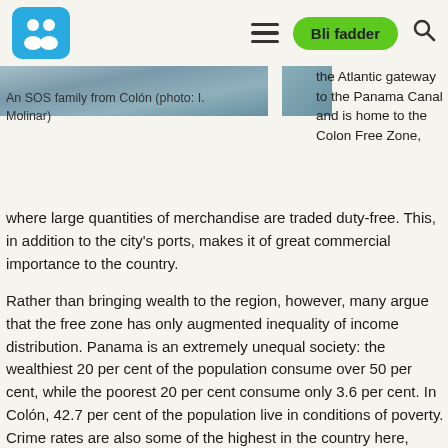Bli fadder
[Figure (photo): Partial photo of an SOS family from Colón, cropped at top of page]
An SOS family from Colón (photo: I. Molinar)
the Atlantic gateway to the Panama Canal and is home to the Colon Free Zone, where large quantities of merchandise are traded duty-free. This, in addition to the city's ports, makes it of great commercial importance to the country.
Rather than bringing wealth to the region, however, many argue that the free zone has only augmented inequality of income distribution. Panama is an extremely unequal society: the wealthiest 20 per cent of the population consume over 50 per cent, while the poorest 20 per cent consume only 3.6 per cent. In Colón, 42.7 per cent of the population live in conditions of poverty. Crime rates are also some of the highest in the country here, especially amongst young people.